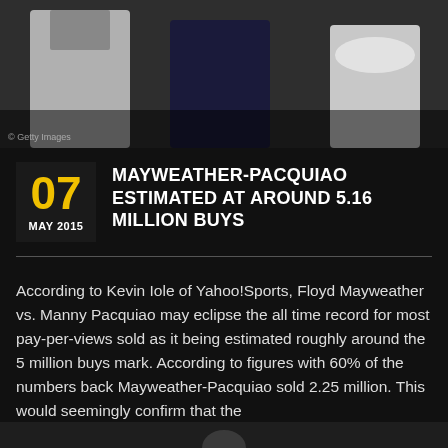[Figure (photo): Photo of Mayweather and Pacquiao with entourage, Getty Images watermark visible in lower left]
MAYWEATHER-PACQUIAO ESTIMATED AT AROUND 5.16 MILLION BUYS
According to Kevin Iole of Yahoo!Sports, Floyd Mayweather vs. Manny Pacquiao may eclipse the all time record for most pay-per-views sold as it being estimated roughly around the 5 million buys mark. According to figures with 60% of the numbers back Mayweather-Pacquiao sold 2.25 million. This would seemingly confirm that the
[Figure (photo): Partial photo at bottom of page, cropped]